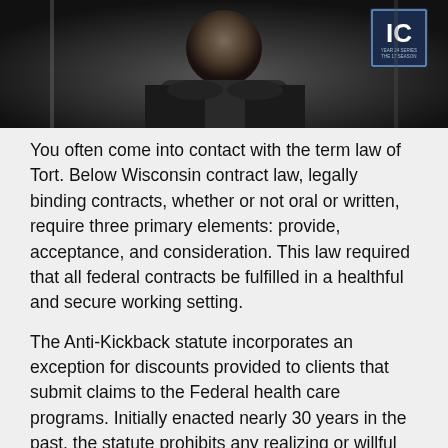[Figure (photo): Dark movie or TV show promotional image showing a person in dark clothing with a blue badge/logo visible in the upper right corner]
You often come into contact with the term law of Tort. Below Wisconsin contract law, legally binding contracts, whether or not oral or written, require three primary elements: provide, acceptance, and consideration. This law required that all federal contracts be fulfilled in a healthful and secure working setting.
The Anti-Kickback statute incorporates an exception for discounts provided to clients that submit claims to the Federal health care programs. Initially enacted nearly 30 years in the past, the statute prohibits any realizing or willful solicitation or acceptance of any sort of remuneration to induce referrals for health services that are reimbursable by the Federal authorities.
lawn mower shop, law of attraction, lawn mower battery Knitting Patterns and Copyright Laws might not go together like needles and yarn but they're far from the water and oil that